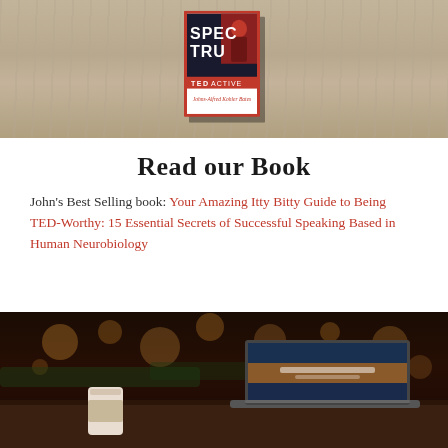[Figure (photo): Photo of a book cover on a wooden table. Book appears to be a TED-related book with 'SPEC TRUM' visible and 'Johns-Alfred Kohler Bates' as author name. Red border around cover.]
Read our Book
John's Best Selling book: Your Amazing Itty Bitty Guide to Being TED-Worthy: 15 Essential Secrets of Successful Speaking Based in Human Neurobiology
[Figure (photo): Photo of a laptop on a café table with bokeh lights in background and a coffee cup nearby. The laptop screen shows a website.]